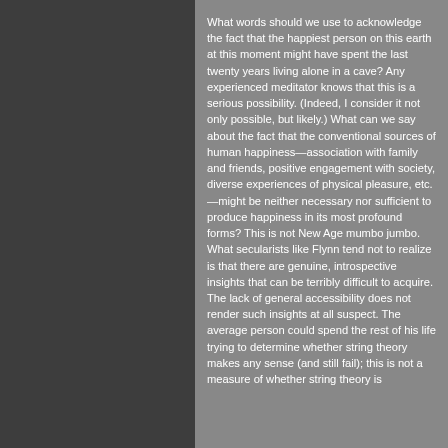What words should we use to acknowledge the fact that the happiest person on this earth at this moment might have spent the last twenty years living alone in a cave? Any experienced meditator knows that this is a serious possibility. (Indeed, I consider it not only possible, but likely.) What can we say about the fact that the conventional sources of human happiness—association with family and friends, positive engagement with society, diverse experiences of physical pleasure, etc.—might be neither necessary nor sufficient to produce happiness in its most profound forms? This is not New Age mumbo jumbo. What secularists like Flynn tend not to realize is that there are genuine, introspective insights that can be terribly difficult to acquire. The lack of general accessibility does not render such insights at all suspect. The average person could spend the rest of his life trying to determine whether string theory makes any sense (and still fail); this is not a measure of whether string theory is